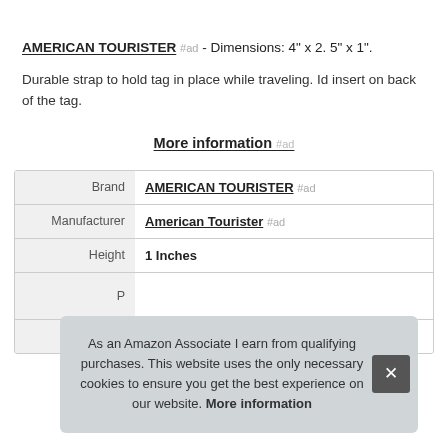AMERICAN TOURISTER #ad - Dimensions: 4" x 2. 5" x 1".
Durable strap to hold tag in place while traveling. Id insert on back of the tag.
More information #ad
|  |  |
| --- | --- |
| Brand | AMERICAN TOURISTER #ad |
| Manufacturer | American Tourister #ad |
| Height | 1 Inches |
| P |  |
| Model | /4445-4451 |
As an Amazon Associate I earn from qualifying purchases. This website uses the only necessary cookies to ensure you get the best experience on our website. More information